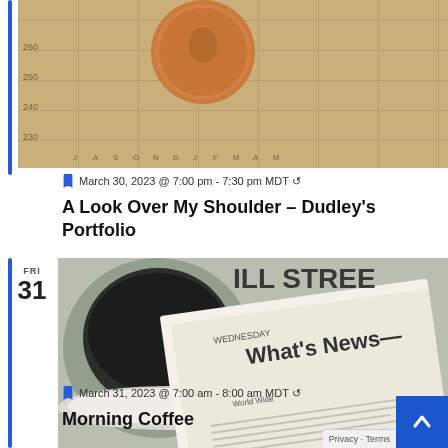[Figure (photo): Photo of a penny coin on a stock chart/financial newspaper with numbers and letter labels visible]
March 30, 2023 @ 7:00 pm - 7:30 pm MDT ↺
A Look Over My Shoulder – Dudley's Portfolio
[Figure (photo): Photo of a cup of coffee, reading glasses, and a newspaper open to What's News page with Wall Street visible]
March 31, 2023 @ 7:00 am - 8:00 am MDT ↺
Morning Coffee